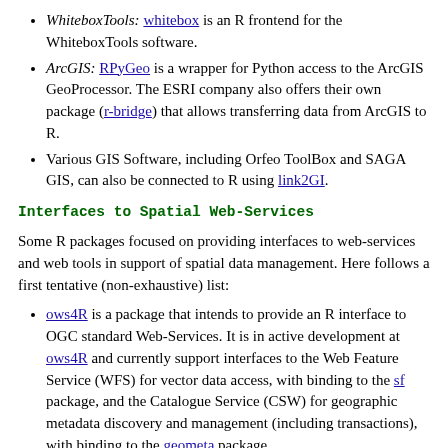WhiteboxTools: whitebox is an R frontend for the WhiteboxTools software.
ArcGIS: RPyGeo is a wrapper for Python access to the ArcGIS GeoProcessor. The ESRI company also offers their own package (r-bridge) that allows transferring data from ArcGIS to R.
Various GIS Software, including Orfeo ToolBox and SAGA GIS, can also be connected to R using link2GI.
Interfaces to Spatial Web-Services
Some R packages focused on providing interfaces to web-services and web tools in support of spatial data management. Here follows a first tentative (non-exhaustive) list:
ows4R is a package that intends to provide an R interface to OGC standard Web-Services. It is in active development at ows4R and currently support interfaces to the Web Feature Service (WFS) for vector data access, with binding to the sf package, and the Catalogue Service (CSW) for geographic metadata discovery and management (including transactions), with binding to the geometa package.
geosapi is an R client for the GeoServer REST API, an open source implementation used widely for serving spatial data.
geonapi provides an interface to the GeoNetwork legacy API, an open source catalogue for managing geographic